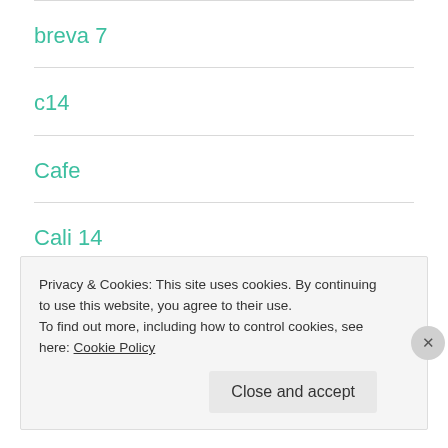breva 7
c14
Cafe
Cali 14
Cali 1400
Cali 8
Privacy & Cookies: This site uses cookies. By continuing to use this website, you agree to their use.
To find out more, including how to control cookies, see here: Cookie Policy
Close and accept